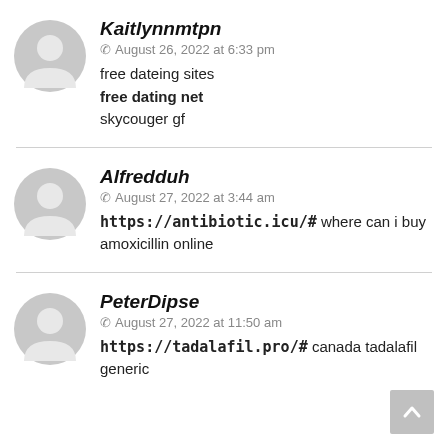Kaitlynnmtpn
August 26, 2022 at 6:33 pm
free dateing sites
free dating net
skycouger gf
Alfredduh
August 27, 2022 at 3:44 am
https://antibiotic.icu/# where can i buy amoxicillin online
PeterDipse
August 27, 2022 at 11:50 am
https://tadalafil.pro/# canada tadalafil generic